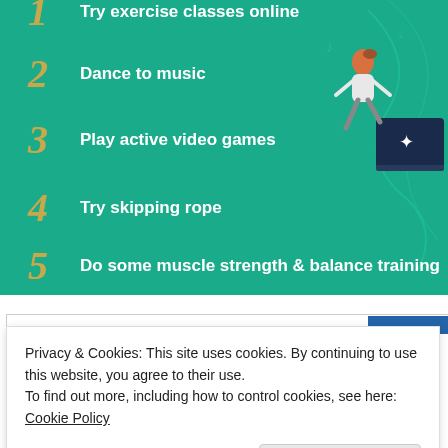[Figure (infographic): Teal/green infographic showing numbered list of indoor exercise activities (items 1-5), with decorative illustration of a person exercising near a laptop. Item 1 is partially cropped at top.]
1 Try exercise classes online
2 Dance to music
3 Play active video games
4 Try skipping rope
5 Do some muscle strength & balance training
Privacy & Cookies: This site uses cookies. By continuing to use this website, you agree to their use.
To find out more, including how to control cookies, see here: Cookie Policy
Close and accept